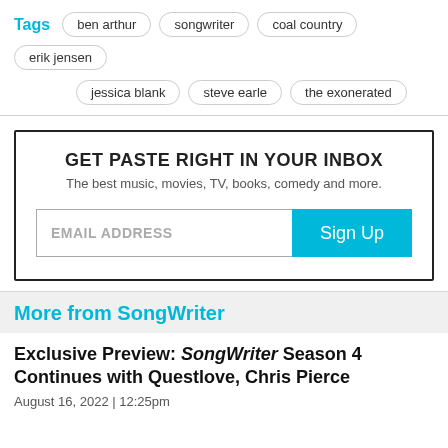Tags  ben arthur  songwriter  coal country  erik jensen  jessica blank  steve earle  the exonerated
GET PASTE RIGHT IN YOUR INBOX
The best music, movies, TV, books, comedy and more.
EMAIL ADDRESS  Sign Up
More from SongWriter
Exclusive Preview: SongWriter Season 4 Continues with Questlove, Chris Pierce
August 16, 2022  |  12:25pm